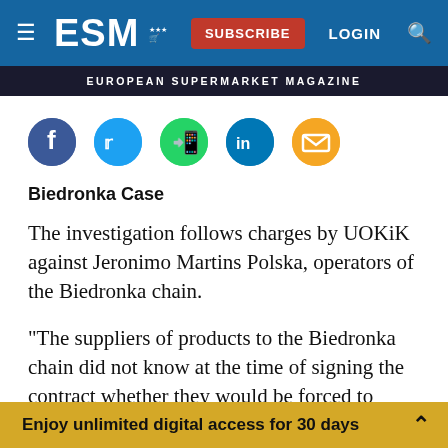ESM — EUROPEAN SUPERMARKET MAGAZINE — SUBSCRIBE LOGIN
[Figure (illustration): Social media sharing icons row: Facebook (dark blue circle), Twitter (light blue circle), WhatsApp (green circle), LinkedIn (dark blue circle), Email (orange/gold circle)]
Biedronka Case
The investigation follows charges by UOKiK against Jeronimo Martins Polska, operators of the Biedronka chain.
"The suppliers of products to the Biedronka chain did not know at the time of signing the contract whether they would be forced to grant an additional rebate or how big it would be," commented Tomasz Chróstny,
Enjoy unlimited digital access for 30 days